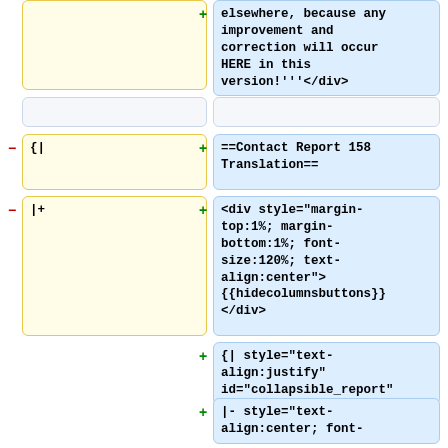elsewhere, because any improvement and correction will occur HERE in this version!'''</div>
{|
==Contact Report 158 Translation==
|+
<div style="margin-top:1%; margin-bottom:1%; font-size:120%; text-align:center">{{hidecolumnsbuttons}}</div>
{| style="text-align:justify" id="collapsible_report"
|- style="text-align:center; font-